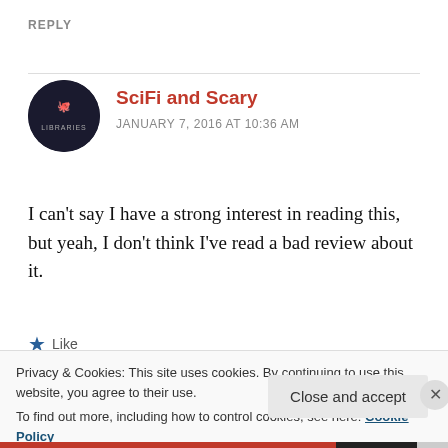REPLY
[Figure (logo): Circular avatar logo for Leviathan Libraries with cartoon characters on dark background]
SciFi and Scary
JANUARY 7, 2016 AT 10:36 AM
I can't say I have a strong interest in reading this, but yeah, I don't think I've read a bad review about it.
Like
Privacy & Cookies: This site uses cookies. By continuing to use this website, you agree to their use.
To find out more, including how to control cookies, see here: Cookie Policy
Close and accept